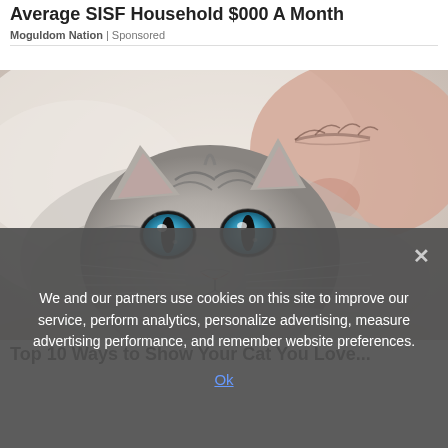Average SISF Household $000 A Month
Moguldom Nation | Sponsored
[Figure (photo): Close-up photo of a person's face nuzzling a gray tabby cat with vivid blue eyes. The cat faces the camera directly while the person's face is slightly blurred in the background. The image has a soft, warm, light-toned background.]
Top 10 Ways to Show Your Cat You Love...
We and our partners use cookies on this site to improve our service, perform analytics, personalize advertising, measure advertising performance, and remember website preferences.
Ok